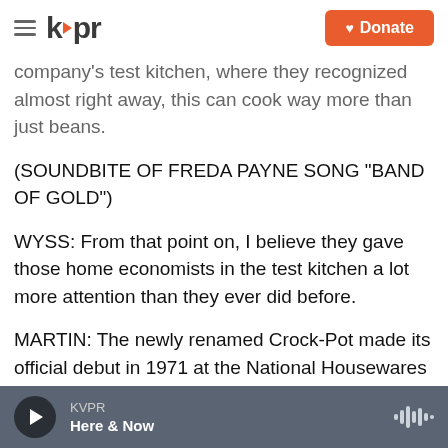kvpr | Donate
company's test kitchen, where they recognized almost right away, this can cook way more than just beans.
(SOUNDBITE OF FREDA PAYNE SONG "BAND OF GOLD")
WYSS: From that point on, I believe they gave those home economists in the test kitchen a lot more attention than they ever did before.
MARTIN: The newly renamed Crock-Pot made its official debut in 1971 at the National Housewares Show in Chicago. It was sold as a miraculous
KVPR | Here & Now